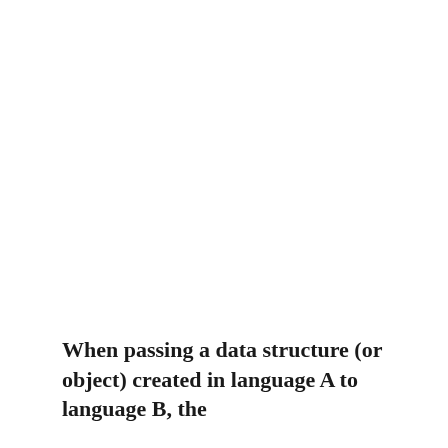When passing a data structure (or object) created in language A to language B, the